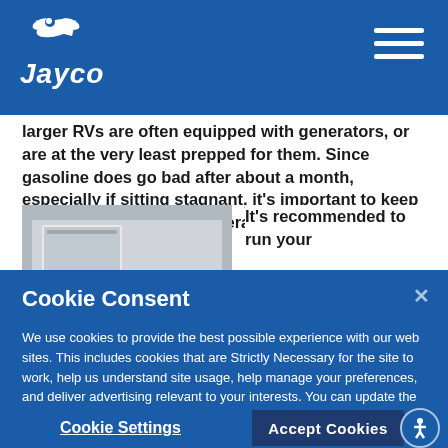Jayco
larger RVs are often equipped with generators, or are at the very least prepped for them. Since gasoline does go bad after about a month, especially if sitting stagnant, it's important to keep it moving through the generator.
[Figure (photo): Close-up photo of an RV exterior showing a slide-out compartment or window area]
It's recommended to run your
Cookie Consent
We use cookies to provide the best possible experience with our web sites. This includes cookies that are Strictly Necessary for the site to work, help us understand site usage, help manage your preferences, and deliver advertising relevant to your interests. You can update the behavior of our cookies by selecting "Cookie Settings."
Cookie Settings
Accept Cookies